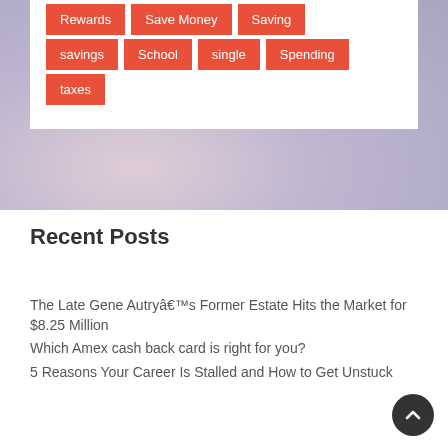Rewards
Save Money
Saving
savings
School
single
Spending
taxes
Recent Posts
The Late Gene Autryâs Former Estate Hits the Market for $8.25 Million
Which Amex cash back card is right for you?
5 Reasons Your Career Is Stalled and How to Get Unstuck